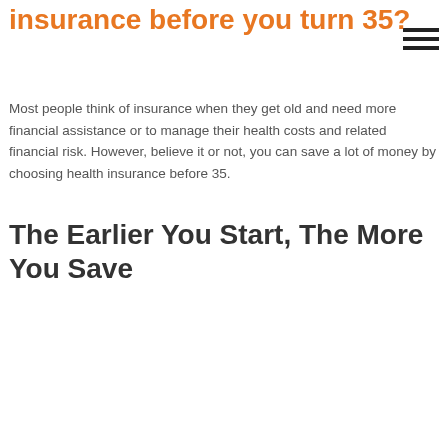insurance before you turn 35?
Most people think of insurance when they get old and need more financial assistance or to manage their health costs and related financial risk. However, believe it or not, you can save a lot of money by choosing health insurance before 35.
The Earlier You Start, The More You Save